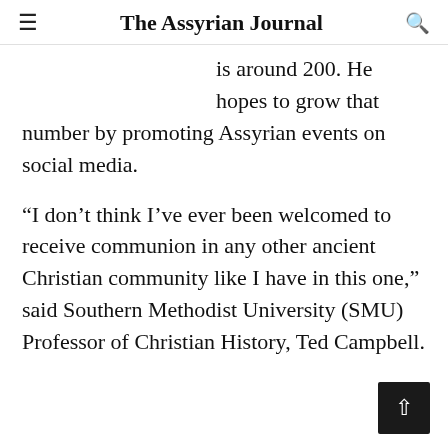The Assyrian Journal
is around 200. He hopes to grow that number by promoting Assyrian events on social media.
“I don’t think I’ve ever been welcomed to receive communion in any other ancient Christian community like I have in this one,” said Southern Methodist University (SMU) Professor of Christian History, Ted Campbell.